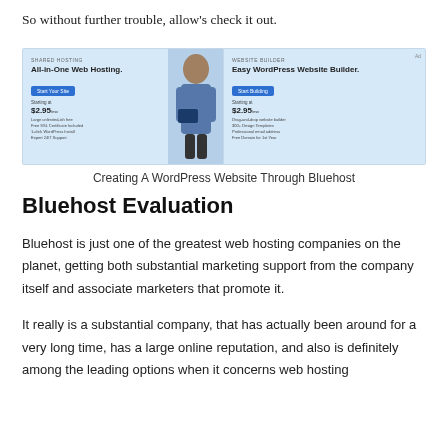So without further trouble, allow's check it out.
[Figure (screenshot): Bluehost website screenshot showing All-in-One Web Hosting and Easy WordPress Website Builder panels with pricing at $2.95/mo]
Creating A WordPress Website Through Bluehost
Bluehost Evaluation
Bluehost is just one of the greatest web hosting companies on the planet, getting both substantial marketing support from the company itself and associate marketers that promote it.
It really is a substantial company, that has actually been around for a very long time, has a large online reputation, and also is definitely among the leading options when it concerns web hosting